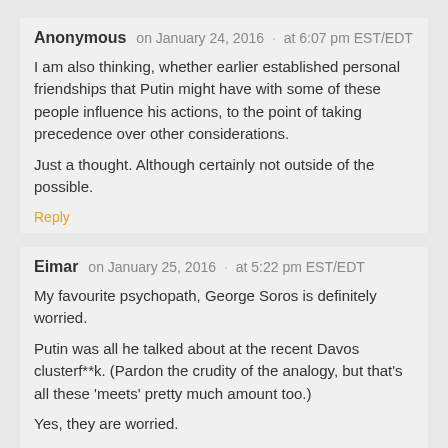Anonymous   on January 24, 2016  ·  at 6:07 pm EST/EDT
I am also thinking, whether earlier established personal friendships that Putin might have with some of these people influence his actions, to the point of taking precedence over other considerations.
Just a thought. Although certainly not outside of the possible.
Reply
Eimar   on January 25, 2016  ·  at 5:22 pm EST/EDT
My favourite psychopath, George Soros is definitely worried.
Putin was all he talked about at the recent Davos clusterf**k. (Pardon the crudity of the analogy, but that's all these 'meets' pretty much amount too.)
Yes, they are worried.
And George never saw the loss of MSM control over the political narrative coming – big failure for Soros and his cabal.